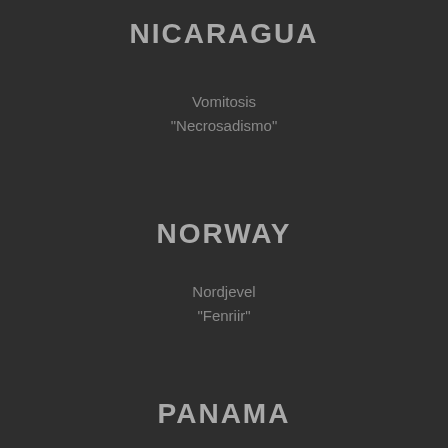NICARAGUA
Vomitosis
"Necrosadismo"
NORWAY
Nordjevel
"Fenriir"
PANAMA
Myria
"Mankind / Obsolete"